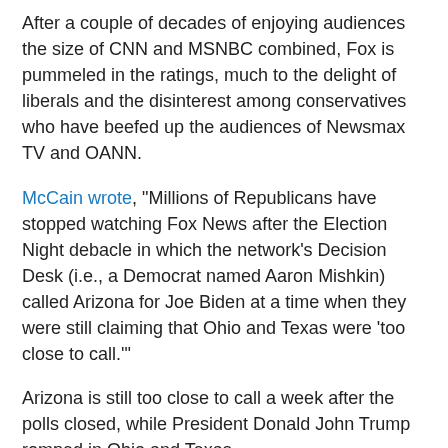After a couple of decades of enjoying audiences the size of CNN and MSNBC combined, Fox is pummeled in the ratings, much to the delight of liberals and the disinterest among conservatives who have beefed up the audiences of Newsmax TV and OANN.
McCain wrote, "Millions of Republicans have stopped watching Fox News after the Election Night debacle in which the network's Decision Desk (i.e., a Democrat named Aaron Mishkin) called Arizona for Joe Biden at a time when they were still claiming that Ohio and Texas were 'too close to call.'"
Arizona is still too close to call a week after the polls closed, while President Donald John Trump romped in Ohio and Texas.
So the network trotted out Chris to explain. And by explain, I mean, take the abuse.
McCain wrote, "Stirewalt stared dumbly into the camera and defended the Decision Desk, saying, 'Ohio is close. Obviously we see the president has an advantage and he's